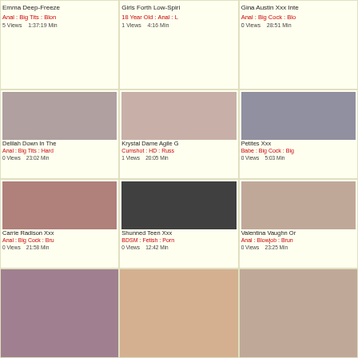Emma Deep-Freeze | Anal : Big Tits : Blonde | 5 Views 1:37:19 Min
Girls Forth Low-Spirit | 18 Year Old : Anal : L | 1 Views 4:16 Min
Gina Austin Xxx Integ | Anal : Big Cock : Blo | 0 Views 28:51 Min
Delilah Down In The | Anal : Big Tits : Hard | 0 Views 23:02 Min
Krystal Dame Agile G | Cumshot : HD : Russ | 1 Views 20:05 Min
Petites Xxx | Babe : Big Cock : Big | 0 Views 5:03 Min
Carrie Radison Xxx | Anal : Big Cock : Bru | 0 Views 21:58 Min
Shunned Teen Xxx | BDSM : Fetish : Porn | 0 Views 12:42 Min
Valentina Vaughn Or | Anal : Blowjob : Brun | 0 Views 23:25 Min
(thumbnail row 4 col 1)
(thumbnail row 4 col 2)
(thumbnail row 4 col 3)